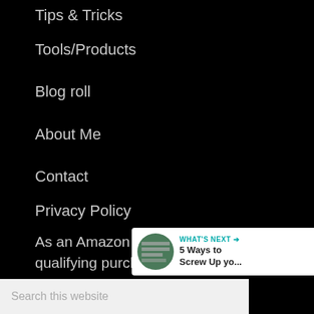Tips & Tricks
Tools/Products
Blog roll
About Me
Contact
Privacy Policy
As an Amazon Associate I earn from qualifying purchases.
[Figure (other): Share button icon (circle with share symbol)]
[Figure (other): What's Next promotional widget showing '5 Ways to Screw Up yo...' with thumbnail]
Search this website